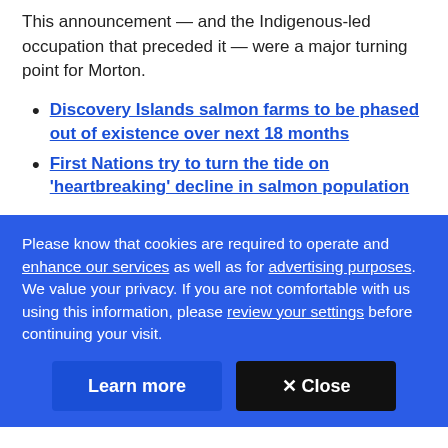This announcement — and the Indigenous-led occupation that preceded it — were a major turning point for Morton.
Discovery Islands salmon farms to be phased out of existence over next 18 months
First Nations try to turn the tide on 'heartbreaking' decline in salmon population
Please know that cookies are required to operate and enhance our services as well as for advertising purposes. We value your privacy. If you are not comfortable with us using this information, please review your settings before continuing your visit.